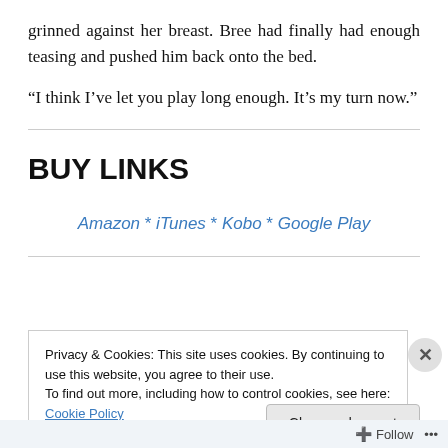grinned against her breast. Bree had finally had enough teasing and pushed him back onto the bed.
“I think I’ve let you play long enough. It’s my turn now.”
BUY LINKS
Amazon * iTunes * Kobo * Google Play
Privacy & Cookies: This site uses cookies. By continuing to use this website, you agree to their use.
To find out more, including how to control cookies, see here: Cookie Policy
Close and accept
Follow